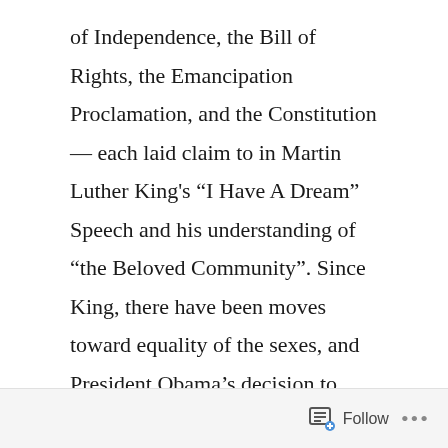of Independence, the Bill of Rights, the Emancipation Proclamation, and the Constitution — each laid claim to in Martin Luther King's “I Have A Dream” Speech and his understanding of “the Beloved Community”. Since King, there have been moves toward equality of the sexes, and President Obama’s decision to support gay marriage, as a new generation stakes its claim to America. So much of this is under threat with the current administration, but the ideals of the country still hold in many places among people who care for each other, who still believe that human beings have dignity and worth, that they are “endowed by their Creator with certain inalienable rights, among them life, liberty and the pursuit of happiness”.
Follow ...